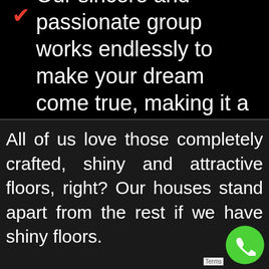Our sincere and passionate group works endlessly to make your dream come true, making it a reality.
All of us love those completely crafted, shiny and attractive floors, right? Our houses stand apart from the rest if we have shiny floors.
Look no more and collaborate Moretons to make your house stand